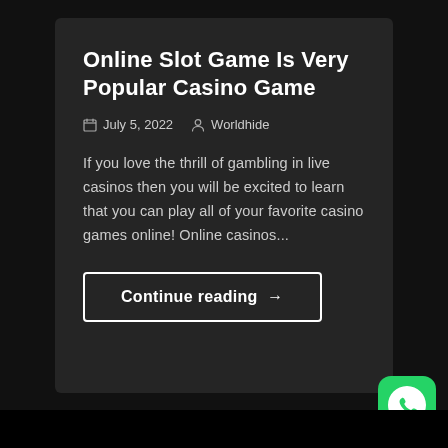Online Slot Game Is Very Popular Casino Game
📅 July 5, 2022  👤 Worldhide
If you love the thrill of gambling in live casinos then you will be excited to learn that you can play all of your favorite casino games online! Online casinos...
Continue reading →
[Figure (logo): WhatsApp green icon button in bottom-right corner]